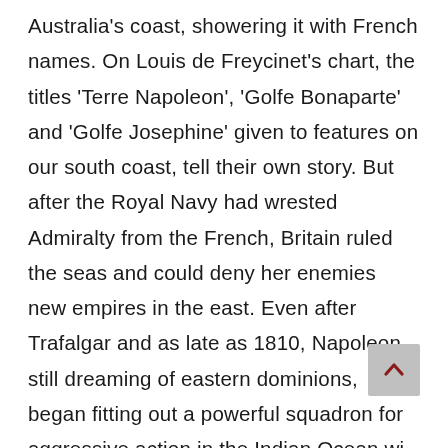Australia's coast, showering it with French names. On Louis de Freycinet's chart, the titles 'Terre Napoleon', 'Golfe Bonaparte' and 'Golfe Josephine' given to features on our south coast, tell their own story. But after the Royal Navy had wrested Admiralty from the French, Britain ruled the seas and could deny her enemies new empires in the east. Even after Trafalgar and as late as 1810, Napoleon, still dreaming of eastern dominions, began fitting out a powerful squadron for aggressive action in the Indian Ocean wi instructions to 'take the English colony at Port Jackson … where considerable resources will be found'.¹